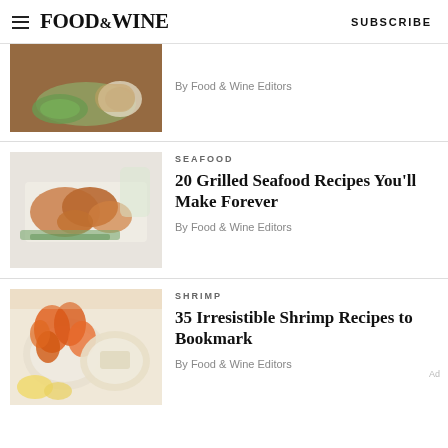FOOD&WINE  SUBSCRIBE
[Figure (photo): Partial food photo showing dishes with lettuce wraps and dipping sauce on a wooden table]
By Food & Wine Editors
SEAFOOD
20 Grilled Seafood Recipes You'll Make Forever
By Food & Wine Editors
[Figure (photo): Grilled shrimp and seafood plated on a white rectangular dish with green vegetables]
SHRIMP
35 Irresistible Shrimp Recipes to Bookmark
By Food & Wine Editors
[Figure (photo): Shrimp dishes on plates with lemon slices and rice on a light background]
Ad